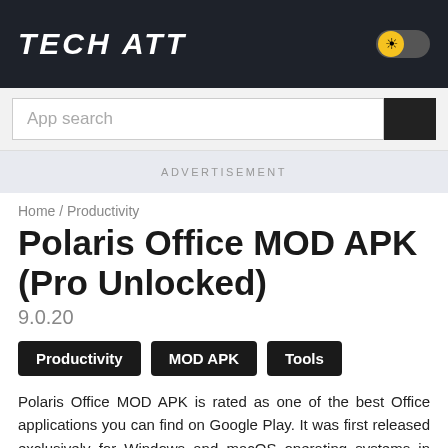TECH ATT
App search
ADVERTISEMENT
Home / Productivity
Polaris Office MOD APK (Pro Unlocked)
9.0.20
Productivity
MOD APK
Tools
Polaris Office MOD APK is rated as one of the best Office applications you can find on Google Play. It was first released exclusively for Windows and macOS operating systems in 2016, but a mobile version of it was officially available for Android and iOS platforms lately, but